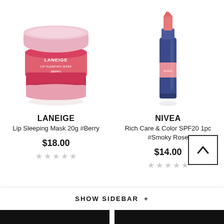[Figure (photo): Laneige Lip Sleeping Mask jar in berry/pink color, round glass jar with pink lid]
[Figure (photo): Nivea Rich Care & Color SPF20 lip stick in dark navy blue tube with pink color tip]
LANEIGE
Lip Sleeping Mask 20g #Berry
$18.00
NIVEA
Rich Care & Color SPF20 1pc #Smoky Rose
$14.00
SHOW SIDEBAR +